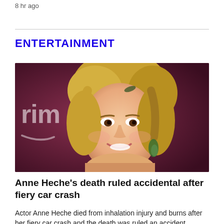8 hr ago
ENTERTAINMENT
[Figure (photo): A smiling blonde woman with short wavy hair and green earrings photographed at a 'Prime' (Amazon Prime Video) event against a dark red/maroon background.]
Anne Heche's death ruled accidental after fiery car crash
Actor Anne Heche died from inhalation injury and burns after her fiery car crash and the death was ruled an accident.